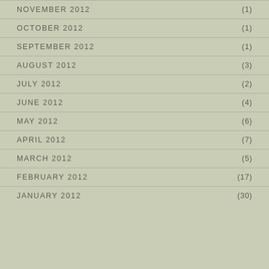NOVEMBER 2012 (1)
OCTOBER 2012 (1)
SEPTEMBER 2012 (1)
AUGUST 2012 (3)
JULY 2012 (2)
JUNE 2012 (4)
MAY 2012 (6)
APRIL 2012 (7)
MARCH 2012 (5)
FEBRUARY 2012 (17)
JANUARY 2012 (30)